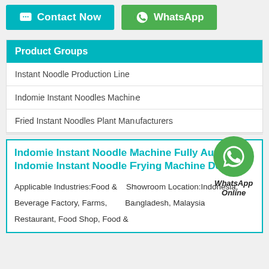Contact Now   WhatsApp
Product Groups
Instant Noodle Production Line
Indomie Instant Noodles Machine
Fried Instant Noodles Plant Manufacturers
[Figure (logo): WhatsApp Online green circle logo with phone icon and text 'WhatsApp Online']
Indomie Instant Noodle Machine Fully Automatic Indomie Instant Noodle Frying Machine Details
Applicable Industries:Food & Beverage Factory, Farms, Restaurant, Food Shop, Food &   Showroom Location:Indonesia, Bangladesh, Malaysia